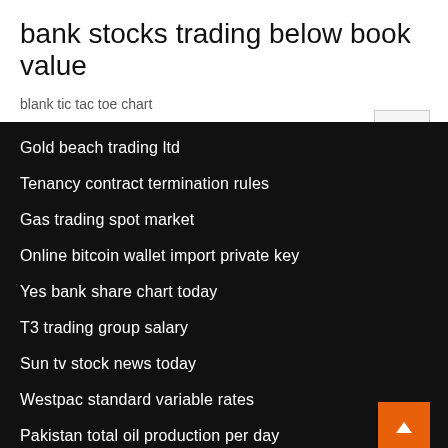bank stocks trading below book value
blank tic tac toe chart
Gold beach trading ltd
Tenancy contract termination rules
Gas trading spot market
Online bitcoin wallet import private key
Yes bank share chart today
T3 trading group salary
Sun tv stock news today
Westpac standard variable rates
Pakistan total oil production per day